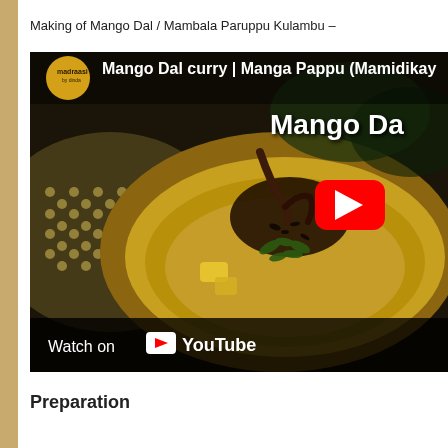Making of Mango Dal / Mambala Paruppu Kulambu –
[Figure (screenshot): YouTube video thumbnail showing Mango Dal curry (Manga Pappu / Mamidikaya) in a copper bowl with tempering, herbs, and lentils visible. The Madraasi channel logo appears in top left. A red YouTube play button overlay is shown in the center-right. A 'Watch on YouTube' bar appears at the bottom.]
Preparation